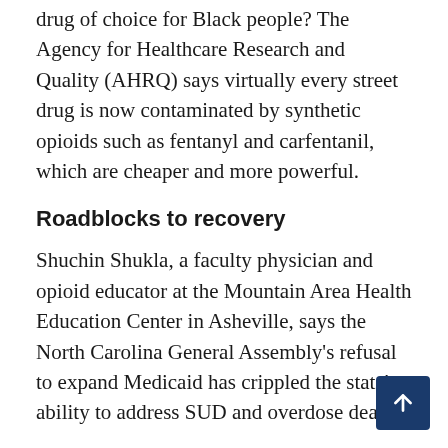drug of choice for Black people? The Agency for Healthcare Research and Quality (AHRQ) says virtually every street drug is now contaminated by synthetic opioids such as fentanyl and carfentanil, which are cheaper and more powerful.
Roadblocks to recovery
Shuchin Shukla, a faculty physician and opioid educator at the Mountain Area Health Education Center in Asheville, says the North Carolina General Assembly's refusal to expand Medicaid has crippled the state's ability to address SUD and overdose deaths.
“There’s plenty of research showing how